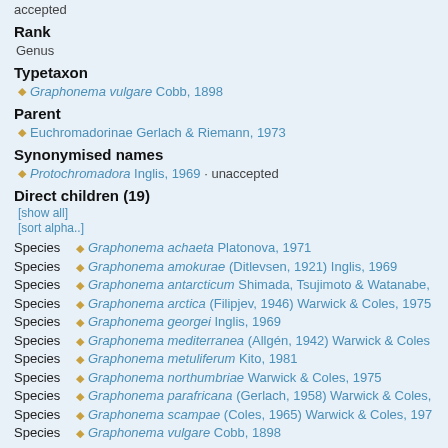accepted
Rank
Genus
Typetaxon
Graphonema vulgare Cobb, 1898
Parent
Euchromadorinae Gerlach & Riemann, 1973
Synonymised names
Protochromadora Inglis, 1969 · unaccepted
Direct children (19)
[show all]
[sort alpha..]
Species   Graphonema achaeta Platonova, 1971
Species   Graphonema amokurae (Ditlevsen, 1921) Inglis, 1969
Species   Graphonema antarcticum Shimada, Tsujimoto & Watanabe,
Species   Graphonema arctica (Filipjev, 1946) Warwick & Coles, 1975
Species   Graphonema georgei Inglis, 1969
Species   Graphonema mediterranea (Allgén, 1942) Warwick & Coles
Species   Graphonema metuliferum Kito, 1981
Species   Graphonema northumbriae Warwick & Coles, 1975
Species   Graphonema parafricana (Gerlach, 1958) Warwick & Coles,
Species   Graphonema scampae (Coles, 1965) Warwick & Coles, 197
Species   Graphonema vulgare Cobb, 1898